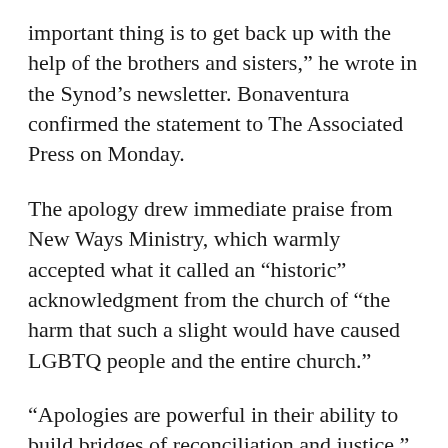important thing is to get back up with the help of the brothers and sisters,” he wrote in the Synod’s newsletter. Bonaventura confirmed the statement to The Associated Press on Monday.
The apology drew immediate praise from New Ways Ministry, which warmly accepted what it called an “historic” acknowledgment from the church of “the harm that such a slight would have caused LGBTQ people and the entire church.”
“Apologies are powerful in their ability to build bridges of reconciliation and justice,” said the group’s executive director, Francis DeBernardo. Praising Bonaventura by name, he said such actions “are an example of the amazing grace which we claim to live life by, in our service to…